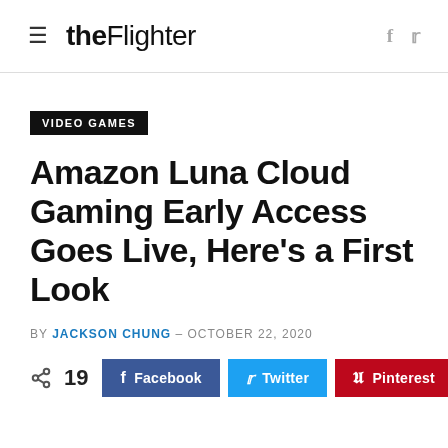theFlighter
VIDEO GAMES
Amazon Luna Cloud Gaming Early Access Goes Live, Here's a First Look
BY JACKSON CHUNG – OCTOBER 22, 2020